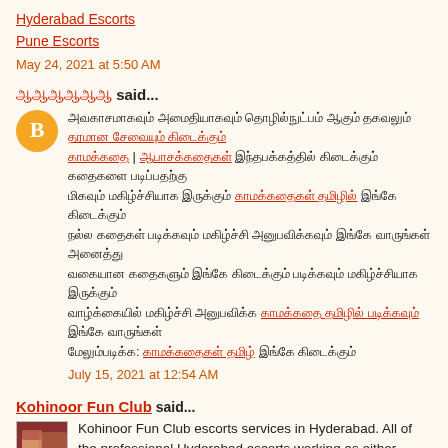Hyderabad Escorts
Pune Escorts
May 24, 2021 at 5:50 AM
ஆஆஆஆஆஆ said...
[Tamil script comment text with links]
July 15, 2021 at 12:54 AM
Kohinoor Fun Club said...
Kohinoor Fun Club escorts services in Hyderabad. All of the professional Hyderabad escorts working as either independent escorts in Hyderabad or employees of escort agencies Kohinoorfunclub.com
Hyderabad Escorts